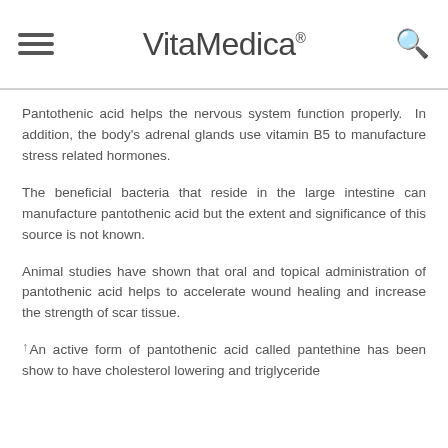VitaMedica®
Pantothenic acid helps the nervous system function properly. In addition, the body's adrenal glands use vitamin B5 to manufacture stress related hormones.
The beneficial bacteria that reside in the large intestine can manufacture pantothenic acid but the extent and significance of this source is not known.
Animal studies have shown that oral and topical administration of pantothenic acid helps to accelerate wound healing and increase the strength of scar tissue.
↑ An active form of pantothenic acid called pantethine has been show to have cholesterol lowering and triglyceride